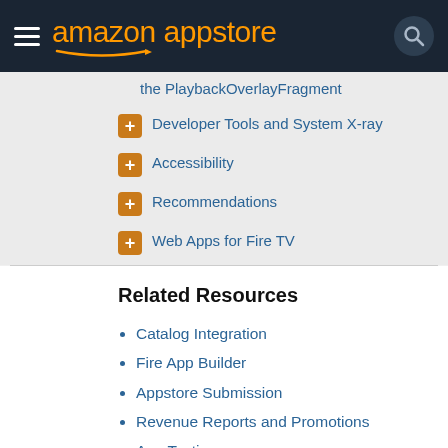amazon appstore
the PlaybackOverlayFragment
Developer Tools and System X-ray
Accessibility
Recommendations
Web Apps for Fire TV
Related Resources
Catalog Integration
Fire App Builder
Appstore Submission
Revenue Reports and Promotions
App Testing
Policy Center
Fire Tablets